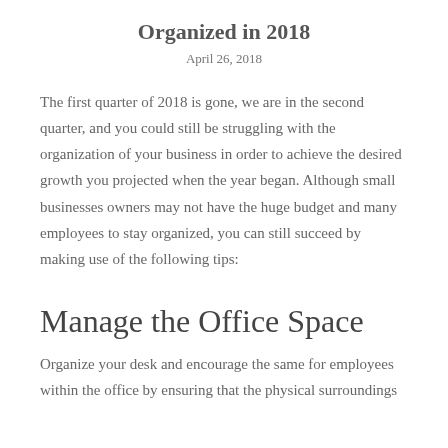Organized in 2018
April 26, 2018
The first quarter of 2018 is gone, we are in the second quarter, and you could still be struggling with the organization of your business in order to achieve the desired growth you projected when the year began. Although small businesses owners may not have the huge budget and many employees to stay organized, you can still succeed by making use of the following tips:
Manage the Office Space
Organize your desk and encourage the same for employees within the office by ensuring that the physical surroundings